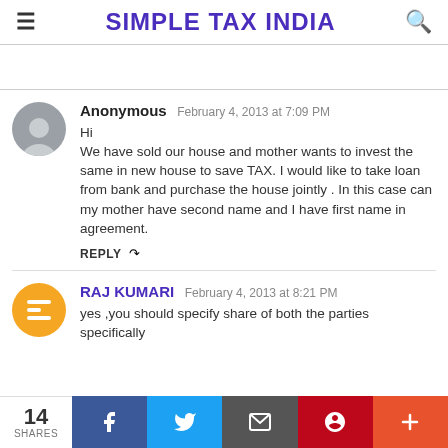SIMPLE TAX INDIA
Anonymous  February 4, 2013 at 7:09 PM
Hi
We have sold our house and mother wants to invest the same in new house to save TAX. I would like to take loan from bank and purchase the house jointly . In this case can my mother have second name and I have first name in agreement.
REPLY
RAJ KUMARI  February 4, 2013 at 8:21 PM
yes ,you should specify share of both the parties specifically